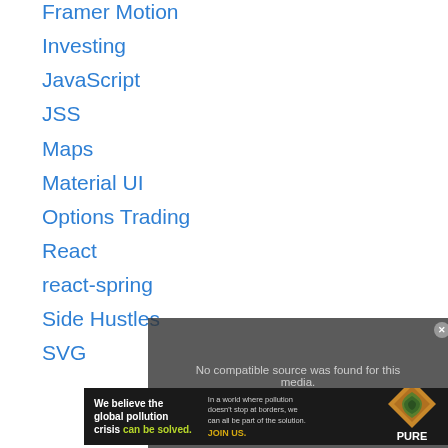Framer Motion
Investing
JavaScript
JSS
Maps
Material UI
Options Trading
React
react-spring
Side Hustles
SVG
[Figure (screenshot): Video player overlay showing 'No compatible source was found for this media.' message with partial title 'Custom Button Example (MUI v5) - 120' visible below in gray. A semi-transparent dark overlay covers the video area.]
[Figure (screenshot): Advertisement banner for Pure Earth: 'We believe the global pollution crisis can be solved.' with tagline about pollution not stopping at borders and JOIN US call to action, with Pure Earth diamond logo.]